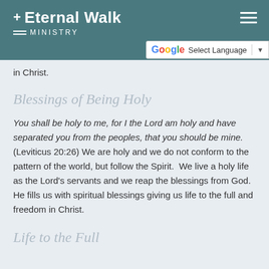+ Eternal Walk MINISTRY
in Christ.
Blessings of Being Holy
You shall be holy to me, for I the Lord am holy and have separated you from the peoples, that you should be mine. (Leviticus 20:26) We are holy and we do not conform to the pattern of the world, but follow the Spirit.  We live a holy life as the Lord's servants and we reap the blessings from God. He fills us with spiritual blessings giving us life to the full and freedom in Christ.
Life to the Full